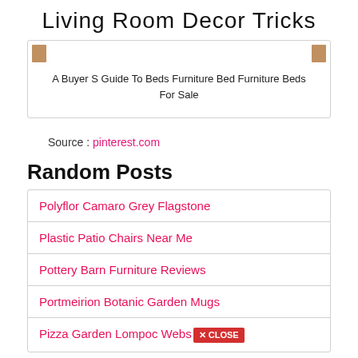Living Room Decor Tricks
[Figure (other): Card with two brown thumbnail image placeholders and centered text caption about beds furniture]
A Buyer S Guide To Beds Furniture Bed Furniture Beds For Sale
Source : pinterest.com
Random Posts
Polyflor Camaro Grey Flagstone
Plastic Patio Chairs Near Me
Pottery Barn Furniture Reviews
Portmeirion Botanic Garden Mugs
Pizza Garden Lompoc Website